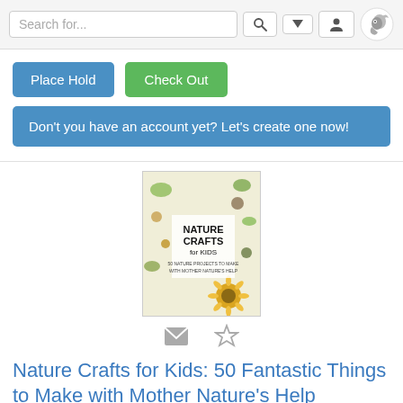Search for...
Place Hold   Check Out
Don't you have an account yet? Let's create one now!
[Figure (illustration): Book cover for Nature Crafts for Kids: 50 Fantastic Things to Make with Mother Nature's Help, showing nature items like leaves, flowers, seeds on a light background with bold title text]
Nature Crafts for Kids: 50 Fantastic Things to Make with Mother Nature's Help
by Gweb Diehn
Paperback, 1997